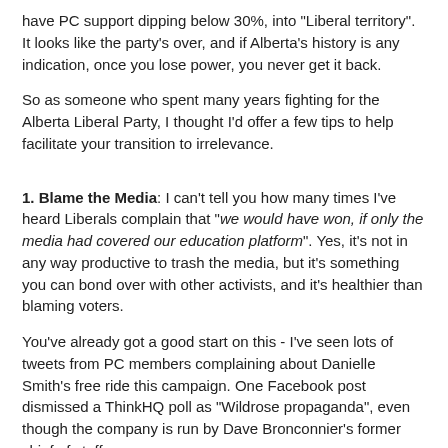have PC support dipping below 30%, into "Liberal territory". It looks like the party's over, and if Alberta's history is any indication, once you lose power, you never get it back.
So as someone who spent many years fighting for the Alberta Liberal Party, I thought I'd offer a few tips to help facilitate your transition to irrelevance.
1. Blame the Media: I can't tell you how many times I've heard Liberals complain that "we would have won, if only the media had covered our education platform". Yes, it's not in any way productive to trash the media, but it's something you can bond over with other activists, and it's healthier than blaming voters.
You've already got a good start on this - I've seen lots of tweets from PC members complaining about Danielle Smith's free ride this campaign. One Facebook post dismissed a ThinkHQ poll as "Wildrose propaganda", even though the company is run by Dave Bronconnier's former chief of staff.